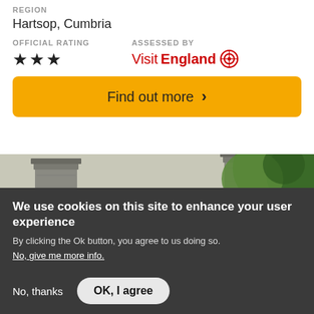REGION
Hartsop, Cumbria
OFFICIAL RATING
★★★
ASSESSED BY
VisitEngland
Find out more >
[Figure (photo): Stone gate pillars with trees in background, partial view of countryside property entrance]
We use cookies on this site to enhance your user experience
By clicking the Ok button, you agree to us doing so.
No, give me more info.
No, thanks
OK, I agree